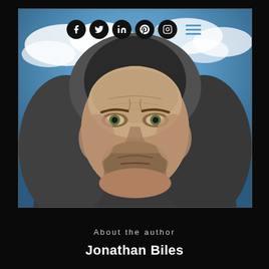[Figure (photo): Author photo of Jonathan Biles — a man wearing a grey hoodie, with stubble beard, photographed outdoors against a blue cloudy sky. Social media icons (Facebook, Twitter, LinkedIn, Pinterest, Instagram) and a hamburger menu appear at the top of the image frame.]
About the author
Jonathan Biles